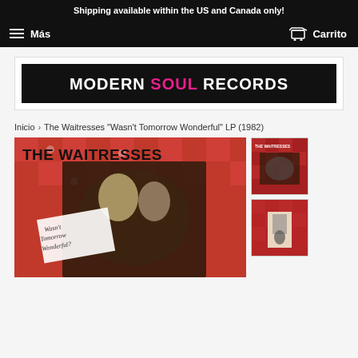Shipping available within the US and Canada only!
Más    Carrito
[Figure (logo): Modern Soul Records logo — black background with white text MODERN, pink text SOUL, white text RECORDS]
Inicio > The Waitresses "Wasn't Tomorrow Wonderful" LP (1982)
[Figure (photo): Main product image: The Waitresses album cover 'Wasn't Tomorrow Wonderful' (1982) — red checkered background with band members and large black text THE WAITRESSES]
[Figure (photo): Thumbnail 1: The Waitresses album cover front view]
[Figure (photo): Thumbnail 2: The Waitresses album back cover or alternative view with red checkered pattern and figure]